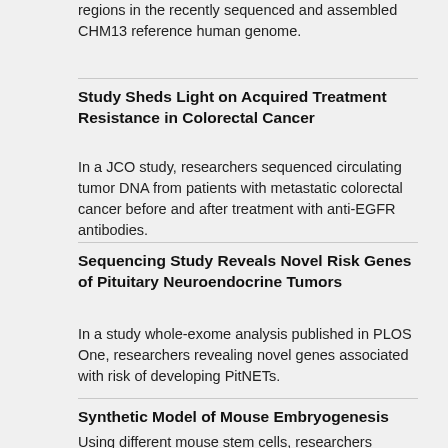regions in the recently sequenced and assembled CHM13 reference human genome.
Study Sheds Light on Acquired Treatment Resistance in Colorectal Cancer
In a JCO study, researchers sequenced circulating tumor DNA from patients with metastatic colorectal cancer before and after treatment with anti-EGFR antibodies.
Sequencing Study Reveals Novel Risk Genes of Pituitary Neuroendocrine Tumors
In a study whole-exome analysis published in PLOS One, researchers revealing novel genes associated with risk of developing PitNETs.
Synthetic Model of Mouse Embryogenesis
Using different mouse stem cells, researchers developed a model of mouse embryogenesis, which they described in Nature.